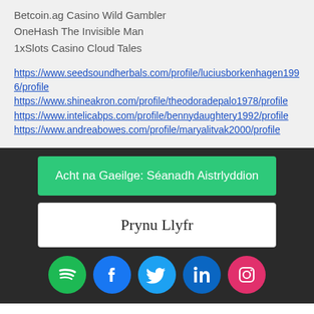Betcoin.ag Casino Wild Gambler
OneHash The Invisible Man
1xSlots Casino Cloud Tales
https://www.seedsoundherbals.com/profile/luciusborkenhagen1996/profile https://www.shineakron.com/profile/theodoradepalo1978/profile https://www.intelicabps.com/profile/bennydaughtery1992/profile https://www.andreabowes.com/profile/maryalitvak2000/profile
Acht na Gaeilge: Séanadh Aistrlyddion
Prynu Llyfr
[Figure (infographic): Social media icons row: Spotify (green circle), Facebook (blue circle), Twitter (blue circle), LinkedIn (blue circle), Instagram (pink/red circle)]